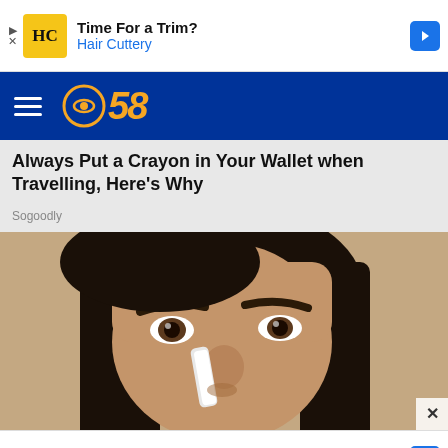[Figure (screenshot): Advertisement banner: Hair Cuttery - Time For a Trim?]
[Figure (logo): CBS 58 navigation bar with hamburger menu and CBS 58 logo]
Always Put a Crayon in Your Wallet when Travelling, Here's Why
Sogoodly
[Figure (photo): Close-up photo of a woman's face with dark hair, applying something white to her nose]
[Figure (screenshot): Advertisement banner: Summer Savings Are Heating U - Walgreens Photo]